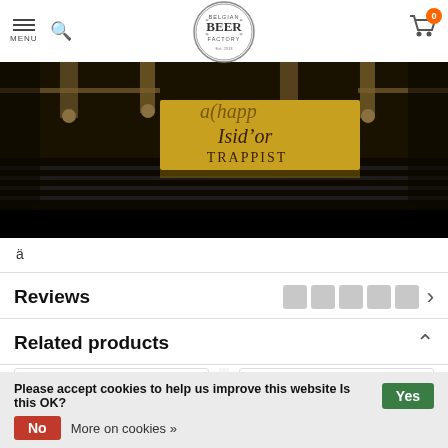MENU | Belgian Beer Factory | Cart (0)
[Figure (screenshot): Belgian Beer Factory website screenshot showing a close-up of a beer bottle label on a conveyor, label reads Isid'or TRAPPIST in gold/sepia tones]
ä
Reviews
Related products
Please accept cookies to help us improve this website Is this OK?
No   More on cookies »